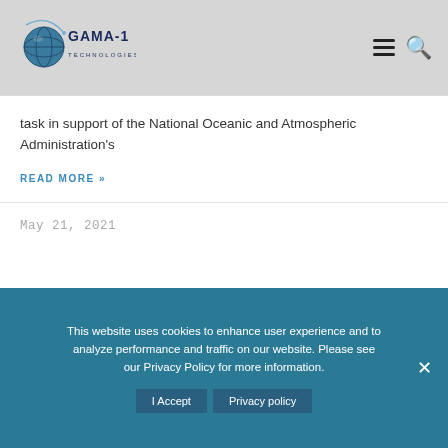[Figure (logo): GAMA-1 Technologies logo with globe graphic and dark blue text]
task in support of the National Oceanic and Atmospheric Administration's
READ MORE »
May 21, 2021
This website uses cookies to enhance user experience and to analyze performance and traffic on our website. Please see our Privacy Policy for more information.
I Accept  Privacy policy